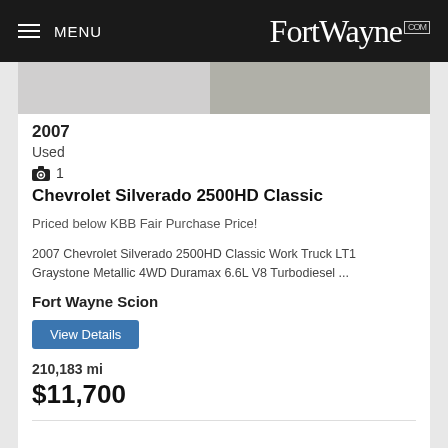MENU — FortWayne.com
[Figure (photo): Partial view of a vehicle, dark/grey car photographed from the rear/side, in a parking area.]
2007
Used
1
Chevrolet Silverado 2500HD Classic
Priced below KBB Fair Purchase Price!
2007 Chevrolet Silverado 2500HD Classic Work Truck LT1 Graystone Metallic 4WD Duramax 6.6L V8 Turbodiesel ...
Fort Wayne Scion
View Details
210,183 mi
$11,700